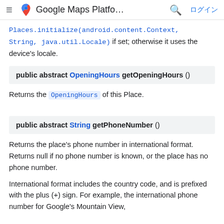≡  Google Maps Platfo…  🔍  ログイン
Places.initialize(android.content.Context, String, java.util.Locale) if set; otherwise it uses the device's locale.
public abstract OpeningHours getOpeningHours ()
Returns the OpeningHours of this Place.
public abstract String getPhoneNumber ()
Returns the place's phone number in international format. Returns null if no phone number is known, or the place has no phone number.
International format includes the country code, and is prefixed with the plus (+) sign. For example, the international phone number for Google's Mountain View,